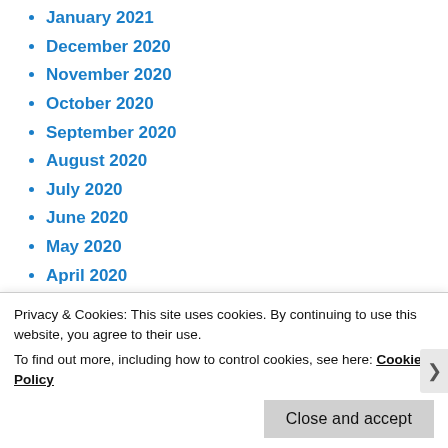January 2021
December 2020
November 2020
October 2020
September 2020
August 2020
July 2020
June 2020
May 2020
April 2020
March 2020
February 2020
January 2020
December 2019
November 2019
October 2019
September 2019
Privacy & Cookies: This site uses cookies. By continuing to use this website, you agree to their use.
To find out more, including how to control cookies, see here: Cookie Policy